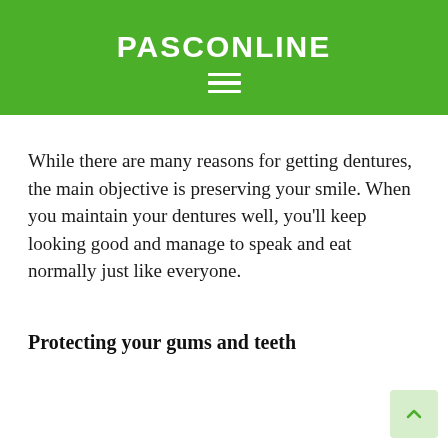PASCONLINE
While there are many reasons for getting dentures, the main objective is preserving your smile. When you maintain your dentures well, you’ll keep looking good and manage to speak and eat normally just like everyone.
Protecting your gums and teeth